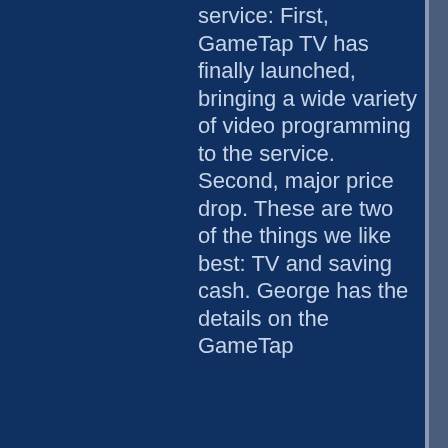service: First, GameTap TV has finally launched, bringing a wide variety of video programming to the service. Second, major price drop. These are two of the things we like best: TV and saving cash. George has the details on the GameTap